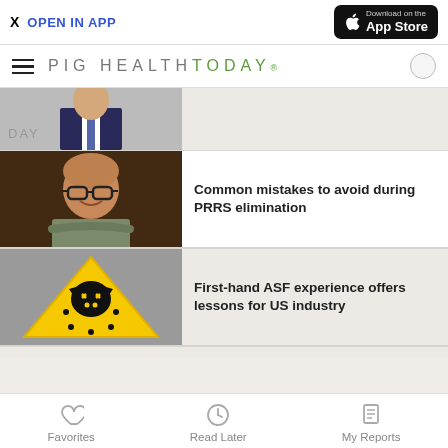X  OPEN IN APP  |  Download on the App Store
PIG HEALTH TODAY
[Figure (photo): Partial view of a man in a dark suit and tie, cropped at the top of the page]
[Figure (photo): Man with glasses and shaved head, arms crossed, smiling, wearing a khaki shirt]
Common mistakes to avoid during PRRS elimination
[Figure (illustration): Yellow triangle warning sign with a black pig/animal skull icon, on a gray background]
First-hand ASF experience offers lessons for US industry
Favorites   Read Later   My Reports